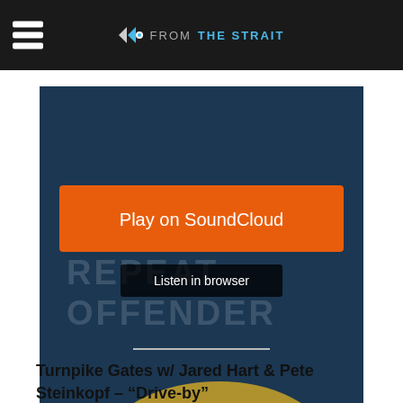FROM THE STRAIT
[Figure (screenshot): SoundCloud embedded music player showing a track with waveform visualization. Orange 'Play on SoundCloud' button and dark 'Listen in browser' button. Shows time 4:09. 'Privacy policy' label visible at bottom left. Dark navy blue background with album art elements (blue and gold curved shapes). Waveform bars visible across bottom half.]
Privacy policy
4:09
Turnpike Gates w/ Jared Hart & Pete Steinkopf – “Drive-by”